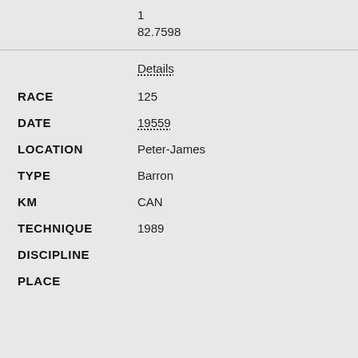POINTS   1
82.7598
Details
RACE   125
DATE   19559
LOCATION   Peter-James
TYPE   Barron
KM   CAN
TECHNIQUE   1989
DISCIPLINE
PLACE